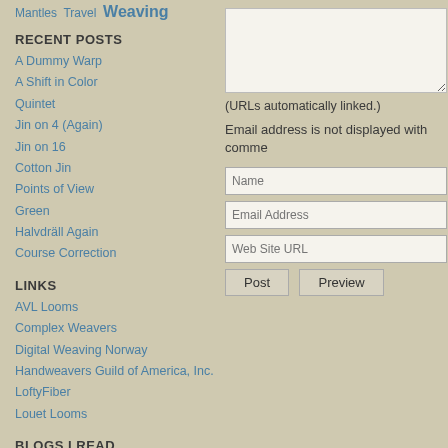Mantles  Travel  Weaving
RECENT POSTS
A Dummy Warp
A Shift in Color
Quintet
Jin on 4 (Again)
Jin on 16
Cotton Jin
Points of View
Green
Halvdräll Again
Course Correction
LINKS
AVL Looms
Complex Weavers
Digital Weaving Norway
Handweavers Guild of America, Inc.
LoftyFiber
Louet Looms
BLOGS I READ
(URLs automatically linked.)
Email address is not displayed with comments.
Name
Email Address
Web Site URL
Post  Preview
[Figure (logo): Powered by TypePad logo button]